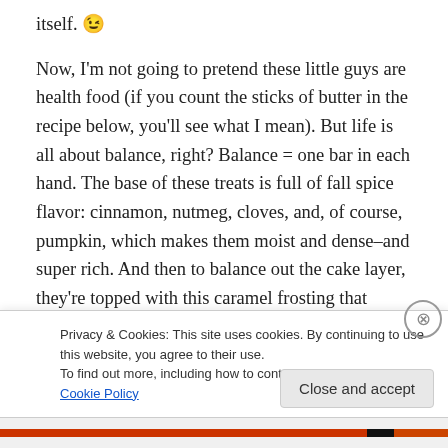itself. 😉
Now, I'm not going to pretend these little guys are health food (if you count the sticks of butter in the recipe below, you'll see what I mean). But life is all about balance, right? Balance = one bar in each hand. The base of these treats is full of fall spice flavor: cinnamon, nutmeg, cloves, and, of course, pumpkin, which makes them moist and dense–and super rich. And then to balance out the cake layer, they're topped with this caramel frosting that hardens into almost a glaze. I cannot say enough about this frosting.
Privacy & Cookies: This site uses cookies. By continuing to use this website, you agree to their use.
To find out more, including how to control cookies, see here: Cookie Policy
Close and accept